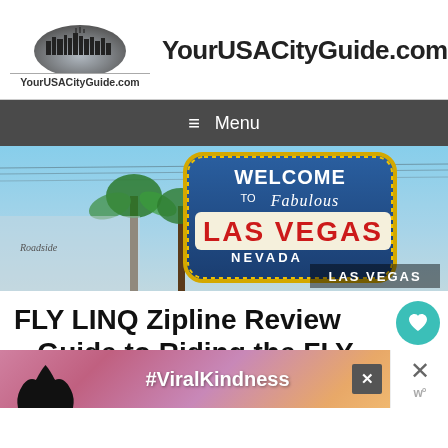[Figure (logo): YourUSACityGuide.com logo with dome/city skyline graphic above text]
YourUSACityGuide.com
Menu
[Figure (photo): Welcome to Fabulous Las Vegas Nevada sign with palm trees and blue sky, with LAS VEGAS label overlay]
FLY LINQ Zipline Review – Guide to Riding the FLY LINQ
[Figure (infographic): Advertisement banner with heart hands silhouette and #ViralKindness hashtag]